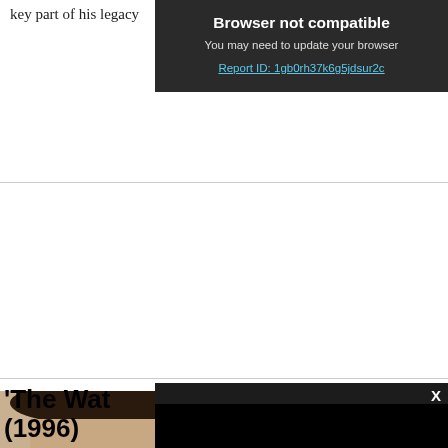key part of his legacy
[Figure (screenshot): Browser not compatible overlay with dark background. Heading: 'Browser not compatible'. Subtext: 'You may need to update your browser'. Link: 'Report ID: 1gb0rh37k6g5jdsur2c']
'The Wat... (1996)
[Figure (screenshot): Dark video player overlay with X close button in top right corner, content is black]
[Figure (photo): Photo strip showing two people's heads/faces at the bottom of the page]